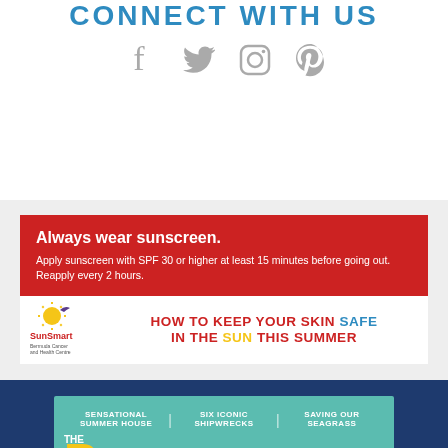CONNECT WITH US
[Figure (infographic): Social media icons: Facebook, Twitter, Instagram, Pinterest in gray]
[Figure (infographic): SunSmart Bermuda Cancer and Health Centre advertisement banner. Red box: 'Always wear sunscreen. Apply sunscreen with SPF 30 or higher at least 15 minutes before going out. Reapply every 2 hours.' Bottom row: SunSmart logo and tagline 'HOW TO KEEP YOUR SKIN SAFE IN THE SUN THIS SUMMER']
[Figure (infographic): Magazine preview on dark blue background. Categories: SENSATIONAL SUMMER HOUSE | SIX ICONIC SHIPWRECKS | SAVING OUR SEAGRASS. Large yellow R letter. THE. SUMMER 2022.]